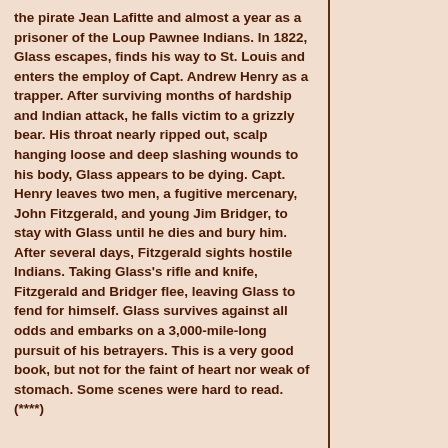the pirate Jean Lafitte and almost a year as a prisoner of the Loup Pawnee Indians. In 1822, Glass escapes, finds his way to St. Louis and enters the employ of Capt. Andrew Henry as a trapper. After surviving months of hardship and Indian attack, he falls victim to a grizzly bear. His throat nearly ripped out, scalp hanging loose and deep slashing wounds to his body, Glass appears to be dying. Capt. Henry leaves two men, a fugitive mercenary, John Fitzgerald, and young Jim Bridger, to stay with Glass until he dies and bury him. After several days, Fitzgerald sights hostile Indians. Taking Glass's rifle and knife, Fitzgerald and Bridger flee, leaving Glass to fend for himself. Glass survives against all odds and embarks on a 3,000-mile-long pursuit of his betrayers. This is a very good book, but not for the faint of heart nor weak of stomach. Some scenes were hard to read. (****)